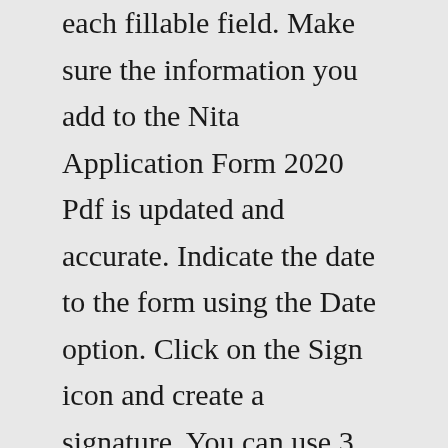each fillable field. Make sure the information you add to the Nita Application Form 2020 Pdf is updated and accurate. Indicate the date to the form using the Date option. Click on the Sign icon and create a signature. You can use 3 options; typing, drawing, or uploading one. Check every field has been filled in correctly. Application Form for Registration as a Levy Contributor - FORM 1 (Revised March 2017) Download View Details ...